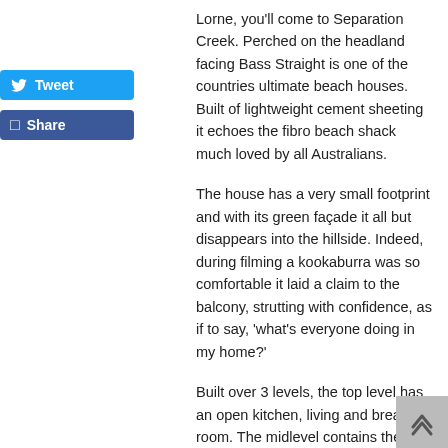[Figure (other): Tweet button (Twitter social share button, blue, with bird icon)]
[Figure (other): Share button (Facebook social share button, dark blue)]
Lorne, you'll come to Separation Creek. Perched on the headland facing Bass Straight is one of the countries ultimate beach houses. Built of lightweight cement sheeting it echoes the fibro beach shack much loved by all Australians.
The house has a very small footprint and with its green façade it all but disappears into the hillside. Indeed, during filming a kookaburra was so comfortable it laid a claim to the balcony, strutting with confidence, as if to say, 'what's everyone doing in my home?'
Built over 3 levels, the top level has an open kitchen, living and breakout room. The midlevel contains the master bedroom and en suite. The lower level has two more bedrooms, a bathroom and laundry.
One of the smallest houses in the series, the Tree House takes its lead from the iconic 1950's beach shack. It's a simple house where sandy feet are welcome. Although the footprint is modest, the
[Figure (other): Back to top arrow button — grey square with upward chevron/arrow icon]